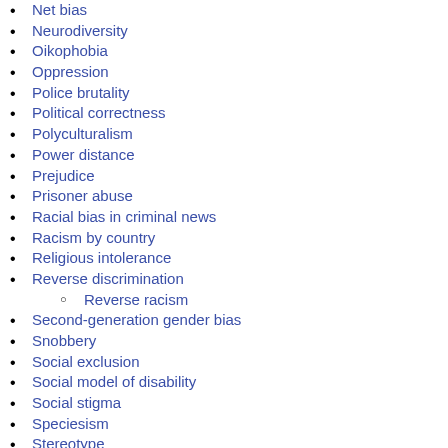Net bias
Neurodiversity
Oikophobia
Oppression
Police brutality
Political correctness
Polyculturalism
Power distance
Prejudice
Prisoner abuse
Racial bias in criminal news
Racism by country
Religious intolerance
Reverse discrimination
Reverse racism
Second-generation gender bias
Snobbery
Social exclusion
Social model of disability
Social stigma
Speciesism
Stereotype
threat
The talk
White privilege
Woke